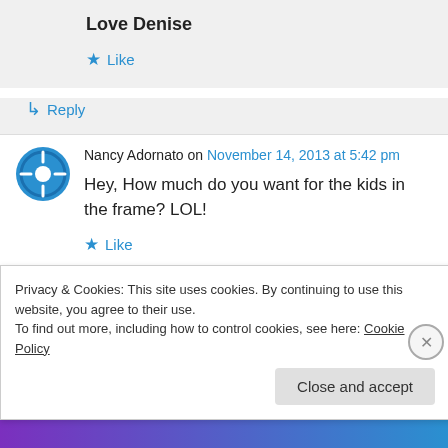Love Denise
★ Like
↳ Reply
Nancy Adornato on November 14, 2013 at 5:42 pm
Hey, How much do you want for the kids in the frame? LOL!
★ Like
Privacy & Cookies: This site uses cookies. By continuing to use this website, you agree to their use.
To find out more, including how to control cookies, see here: Cookie Policy
Close and accept